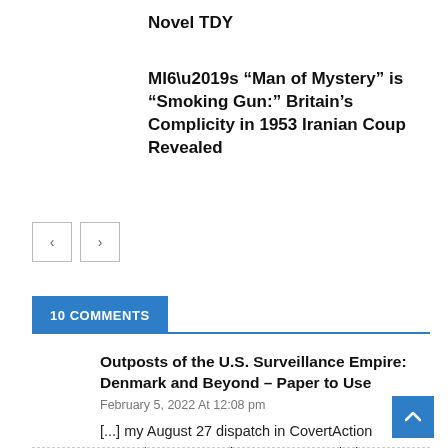Novel TDY
MI6’s “Man of Mystery” is “Smoking Gun:” Britain’s Complicity in 1953 Iranian Coup Revealed
10 COMMENTS
Outposts of the U.S. Surveillance Empire: Denmark and Beyond – Paper to Use
February 5, 2022 At 12:08 pm
[...] my August 27 dispatch in CovertAction Magazine, I reported what TET revealed to the media. It listed six major [...]
Reply